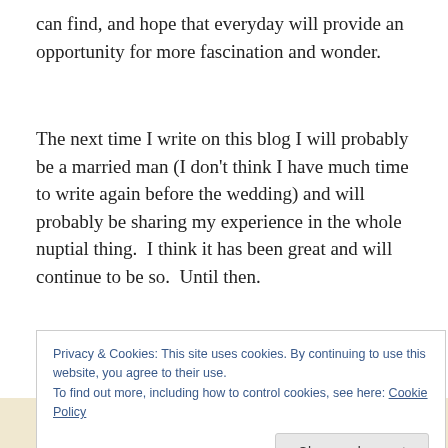can find, and hope that everyday will provide an opportunity for more fascination and wonder.
The next time I write on this blog I will probably be a married man (I don't think I have much time to write again before the wedding) and will probably be sharing my experience in the whole nuptial thing.  I think it has been great and will continue to be so.  Until then.
Privacy & Cookies: This site uses cookies. By continuing to use this website, you agree to their use.
To find out more, including how to control cookies, see here: Cookie Policy
Close and accept
designed sites in less